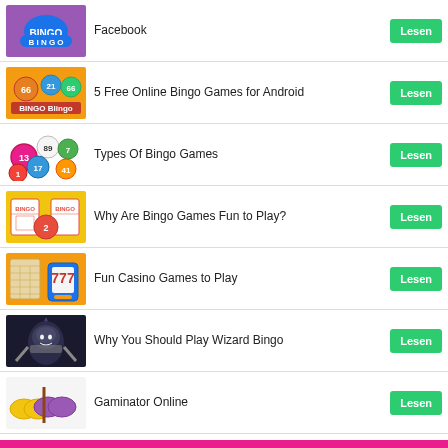Facebook
5 Free Online Bingo Games for Android
Types Of Bingo Games
Why Are Bingo Games Fun to Play?
Fun Casino Games to Play
Why You Should Play Wizard Bingo
Gaminator Online